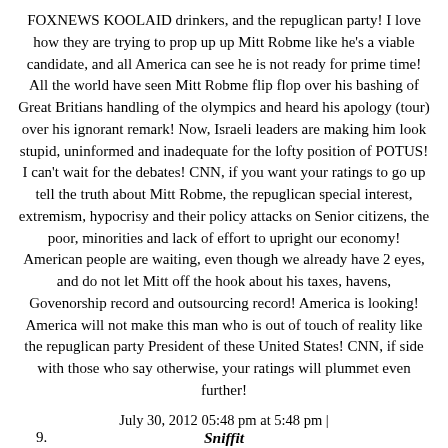FOXNEWS KOOLAID drinkers, and the repuglican party! I love how they are trying to prop up up Mitt Robme like he's a viable candidate, and all America can see he is not ready for prime time! All the world have seen Mitt Robme flip flop over his bashing of Great Britians handling of the olympics and heard his apology (tour) over his ignorant remark! Now, Israeli leaders are making him look stupid, uninformed and inadequate for the lofty position of POTUS! I can't wait for the debates! CNN, if you want your ratings to go up tell the truth about Mitt Robme, the repuglican special interest, extremism, hypocrisy and their policy attacks on Senior citizens, the poor, minorities and lack of effort to upright our economy! American people are waiting, even though we already have 2 eyes, and do not let Mitt off the hook about his taxes, havens, Govenorship record and outsourcing record! America is looking! America will not make this man who is out of touch of reality like the repuglican party President of these United States! CNN, if side with those who say otherwise, your ratings will plummet even further!
July 30, 2012 05:48 pm at 5:48 pm |
9. Sniffit
"So Obama has given a free hand to those that handle the U.S. Relations with Israel. Does Obama know what is going